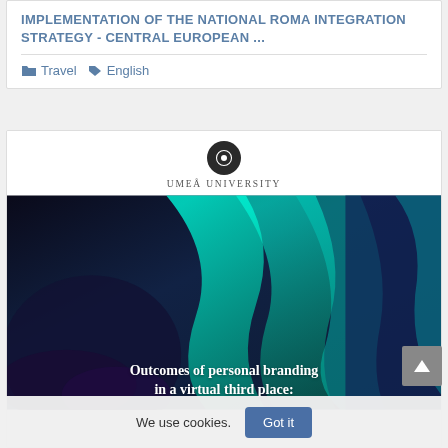IMPLEMENTATION OF THE NATIONAL ROMA INTEGRATION STRATEGY - CENTRAL EUROPEAN ...
Travel  English
[Figure (logo): Umeå University logo: dark circular icon above text reading UMEÅ UNIVERSITY]
[Figure (photo): Abstract teal and blue aurora-like or painted background image with white text overlay reading: Outcomes of personal branding in a virtual third place:]
We use cookies.
Got it